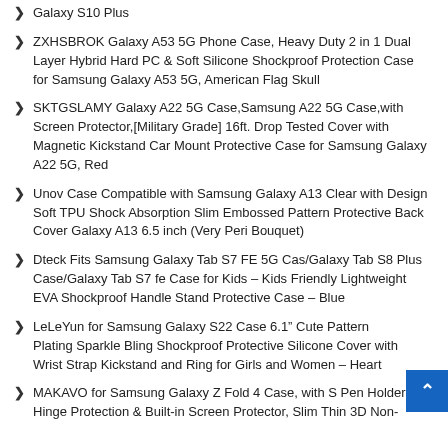Galaxy S10 Plus
ZXHSBROK Galaxy A53 5G Phone Case, Heavy Duty 2 in 1 Dual Layer Hybrid Hard PC & Soft Silicone Shockproof Protection Case for Samsung Galaxy A53 5G, American Flag Skull
SKTGSLAMY Galaxy A22 5G Case,Samsung A22 5G Case,with Screen Protector,[Military Grade] 16ft. Drop Tested Cover with Magnetic Kickstand Car Mount Protective Case for Samsung Galaxy A22 5G, Red
Unov Case Compatible with Samsung Galaxy A13 Clear with Design Soft TPU Shock Absorption Slim Embossed Pattern Protective Back Cover Galaxy A13 6.5 inch (Very Peri Bouquet)
Dteck Fits Samsung Galaxy Tab S7 FE 5G Cas/Galaxy Tab S8 Plus Case/Galaxy Tab S7 fe Case for Kids – Kids Friendly Lightweight EVA Shockproof Handle Stand Protective Case – Blue
LeLeYun for Samsung Galaxy S22 Case 6.1” Cute Pattern Plating Sparkle Bling Shockproof Protective Silicone Cover with Wrist Strap Kickstand and Ring for Girls and Women – Heart
MAKAVO for Samsung Galaxy Z Fold 4 Case, with S Pen Holder & Hinge Protection & Built-in Screen Protector, Slim Thin 3D Non-